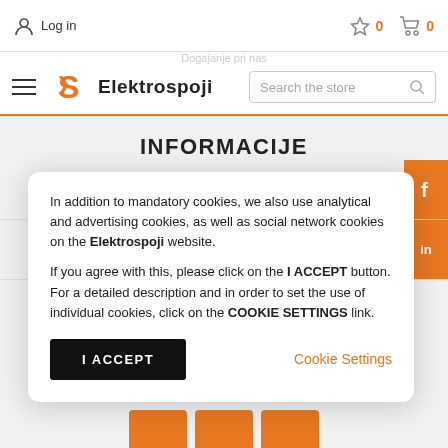Log in  ☆ 0  🛒 0
[Figure (screenshot): Elektrospoji store logo with orange S icon and bold text]
INFORMACIJE
Kontakti in lokacija
Plačilo in dostava
In addition to mandatory cookies, we also use analytical and advertising cookies, as well as social network cookies on the Elektrospoji website. If you agree with this, please click on the I ACCEPT button. For a detailed description and in order to set the use of individual cookies, click on the COOKIE SETTINGS link.
I ACCEPT
Cookie Settings